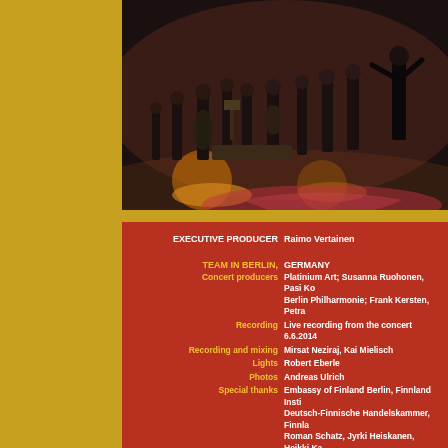[Figure (photo): Orchestra performing on stage, musicians in dark clothing with conductor visible on right, stage lighting visible]
EXECUTIVE PRODUCER  Raimo Vertainen
TEAM IN BERLIN,  GERMANY
Concert producers  Platinium Art; Susanna Ruohonen, Pasi Ko... Berlin Philharmonie; Frank Kersten, Petra...
Recording  Live recording from the concert 6.6.2014
Recording and mixing  Mirsat Neziraj, Kai Mielisch
Lights  Robert Eberle
Photos  Andreas Ulrich
Special thanks  Embassy of Finland Berlin, Finnland Insti... Deutsch-Finnische Handelskammer, Finnla... Roman Schatz, Jyrki Heiskanen, Heikki Ka...
TEAM IN KOKKOLA,  FINLAND
Assistant Producer  Anne Stoor
Production  Guardia Nueva Orchestra Society
Post recording production  Ambient Audio/ Mika Paananen  Studio57/ Masi Isohanni
Graphic design  Karen Hanqvist